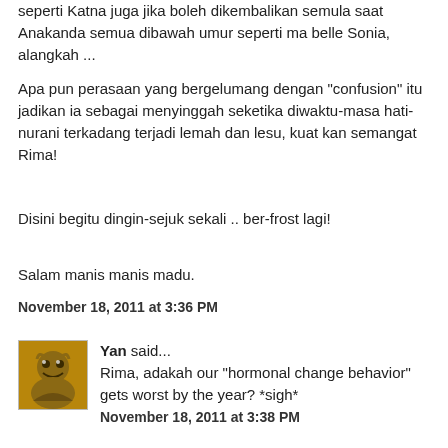seperti Katna juga jika boleh dikembalikan semula saat Anakanda semua dibawah umur seperti ma belle Sonia, alangkah ...
Apa pun perasaan yang bergelumang dengan "confusion" itu jadikan ia sebagai menyinggah seketika diwaktu-masa hati-nurani terkadang terjadi lemah dan lesu, kuat kan semangat Rima!
Disini begitu dingin-sejuk sekali .. ber-frost lagi!
Salam manis manis madu.
November 18, 2011 at 3:36 PM
Yan said...
Rima, adakah our "hormonal change behavior" gets worst by the year? *sigh*
November 18, 2011 at 3:38 PM
Yan said...
anyway, if im u kid, i would love ur macs no matter how it looks too.